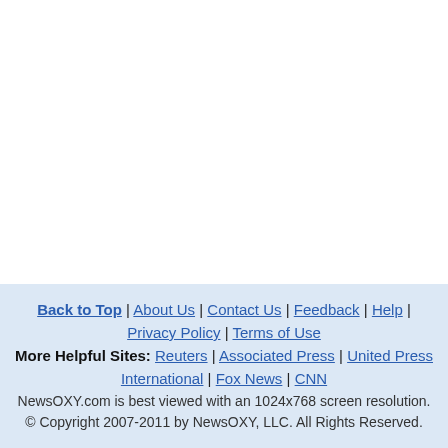Back to Top | About Us | Contact Us | Feedback | Help | Privacy Policy | Terms of Use More Helpful Sites: Reuters | Associated Press | United Press International | Fox News | CNN NewsOXY.com is best viewed with an 1024x768 screen resolution. © Copyright 2007-2011 by NewsOXY, LLC. All Rights Reserved.